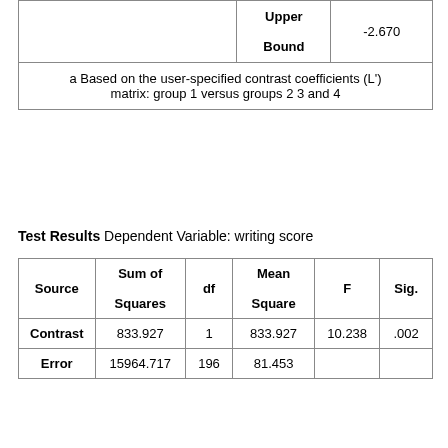|  | Upper Bound | -2.670 |
| --- | --- | --- |
| a Based on the user-specified contrast coefficients (L') matrix: group 1 versus groups 2 3 and 4 |  |  |
Test Results Dependent Variable: writing score
| Source | Sum of Squares | df | Mean Square | F | Sig. |
| --- | --- | --- | --- | --- | --- |
| Contrast | 833.927 | 1 | 833.927 | 10.238 | .002 |
| Error | 15964.717 | 196 | 81.453 |  |  |